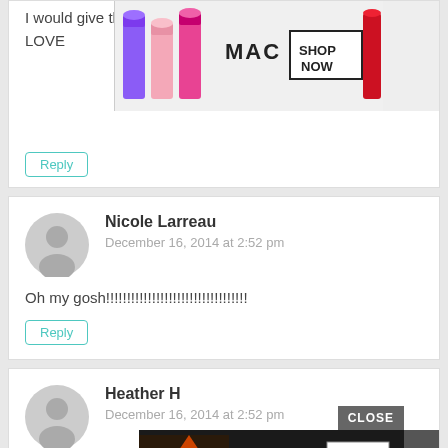I would give this to my 4 1/2 year old daughter! She would LOVE
[Figure (photo): MAC lipstick advertisement banner with purple, pink, and red lipsticks and 'SHOP NOW' button]
Reply
Nicole Larreau
December 16, 2014 at 2:52 pm
Oh my gosh!!!!!!!!!!!!!!!!!!!!!!!!!!!!!!!!!!
Reply
Heather H
December 16, 2014 at 2:52 pm
My 9
[Figure (photo): Seamless food delivery advertisement with pizza and 'ORDER NOW' button]
CLOSE
Rep